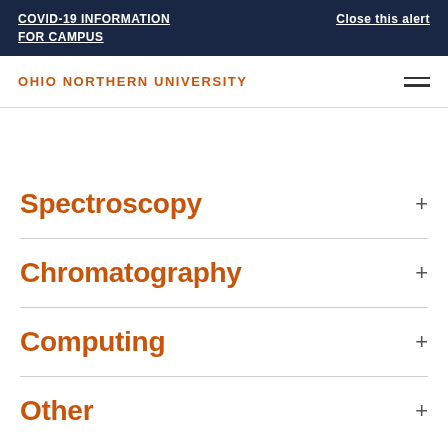COVID-19 INFORMATION FOR CAMPUS    Close this alert
OHIO NORTHERN UNIVERSITY
Spectroscopy
Chromatography
Computing
Other